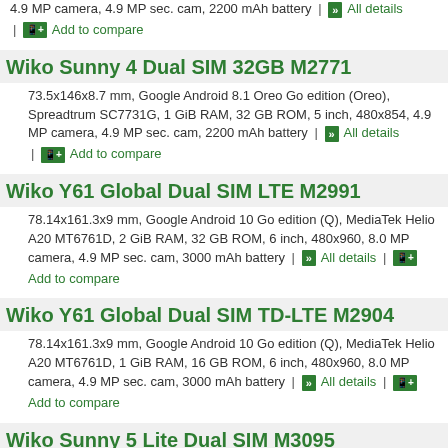4.9 MP camera, 4.9 MP sec. cam, 2200 mAh battery | All details | Add to compare
Wiko Sunny 4 Dual SIM 32GB M2771
73.5x146x8.7 mm, Google Android 8.1 Oreo Go edition (Oreo), Spreadtrum SC7731G, 1 GiB RAM, 32 GB ROM, 5 inch, 480x854, 4.9 MP camera, 4.9 MP sec. cam, 2200 mAh battery | All details | Add to compare
Wiko Y61 Global Dual SIM LTE M2991
78.14x161.3x9 mm, Google Android 10 Go edition (Q), MediaTek Helio A20 MT6761D, 2 GiB RAM, 32 GB ROM, 6 inch, 480x960, 8.0 MP camera, 4.9 MP sec. cam, 3000 mAh battery | All details | Add to compare
Wiko Y61 Global Dual SIM TD-LTE M2904
78.14x161.3x9 mm, Google Android 10 Go edition (Q), MediaTek Helio A20 MT6761D, 1 GiB RAM, 16 GB ROM, 6 inch, 480x960, 8.0 MP camera, 4.9 MP sec. cam, 3000 mAh battery | All details | Add to compare
Wiko Sunny 5 Lite Dual SIM M3095